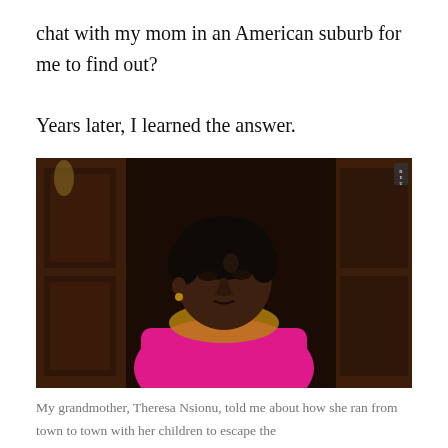chat with my mom in an American suburb for me to find out?
Years later, I learned the answer.
[Figure (photo): An elderly Black woman wearing a bright pink top, seated in a chair with a yellow/gold cushion, photographed in front of dark wooden doors. She has short dark hair and is looking slightly downward with a serious expression.]
My grandmother, Theresa Nsionu, told me about how she ran from town to town with her children to escape the